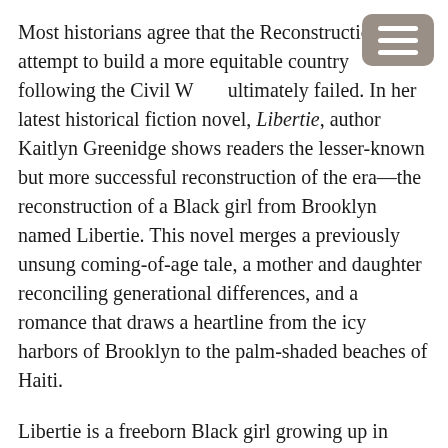Most historians agree that the Reconstruction—the attempt to build a more equitable country following the Civil War—ultimately failed. In her latest historical fiction novel, Libertie, author Kaitlyn Greenidge shows readers the lesser-known but more successful reconstruction of the era—the reconstruction of a Black girl from Brooklyn named Libertie. This novel merges a previously unsung coming-of-age tale, a mother and daughter reconciling generational differences, and a romance that draws a heartline from the icy harbors of Brooklyn to the palm-shaded beaches of Haiti.
Libertie is a freeborn Black girl growing up in Brooklyn shortly following the Civil War. Her mother is a physician looking to open a hospital, where they endure the difficult task of treating the very people who had marked their houses for destruction during anti-Black riots.